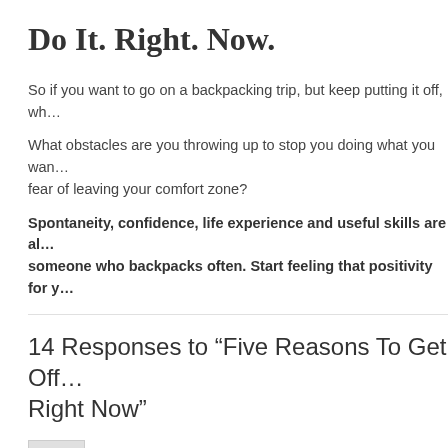Do It. Right. Now.
So if you want to go on a backpacking trip, but keep putting it off, wh…
What obstacles are you throwing up to stop you doing what you wan… fear of leaving your comfort zone?
Spontaneity, confidence, life experience and useful skills are al… someone who backpacks often. Start feeling that positivity for y…
14 Responses to “Five Reasons To Get Off… Right Now”
Louise says:
MAY 2, 2012 AT 11:40 PM
Another good one Tommy!!